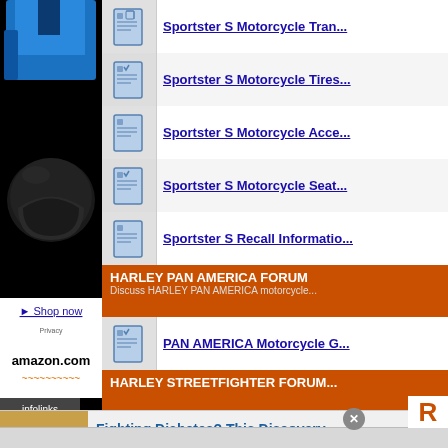[Figure (photo): Motorcycle rider in blue jacket and black helmet, advertisement image with Shop now link]
Sportster S Motorcycle Tran...
Sportster S Motorcycle Tires...
Sportster S Motorcycle Acce...
Sportster S Motorcycle Seat...
Sportster S Recall Informatio...
HARLEY PAN AMERICA FORUM
Discuss HARLEY PAN AMERICA motorcycle...
PAN AMERICA Motorcycle G...
HARLEY STREETFIGHTER FORUM...
[Figure (screenshot): Amazon.com advertisement logo]
[Figure (infographic): Infolinks branding bar]
[Figure (photo): Advertisement: Fighting Diabetes? This Discovery Leaves - cashews image with dailytips.info source, navigation arrow circle]
[Figure (screenshot): Partial bottom content with R letter visible]